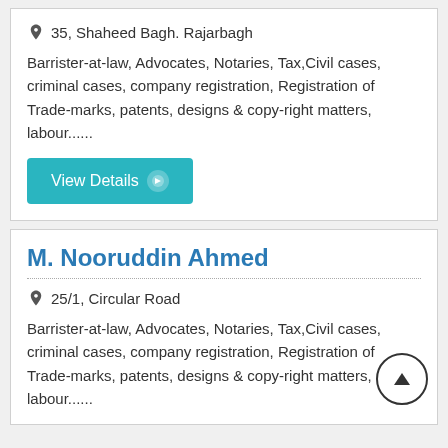35, Shaheed Bagh. Rajarbagh
Barrister-at-law, Advocates, Notaries, Tax,Civil cases, criminal cases, company registration, Registration of Trade-marks, patents, designs & copy-right matters, labour......
View Details
M. Nooruddin Ahmed
25/1, Circular Road
Barrister-at-law, Advocates, Notaries, Tax,Civil cases, criminal cases, company registration, Registration of Trade-marks, patents, designs & copy-right matters, labour......